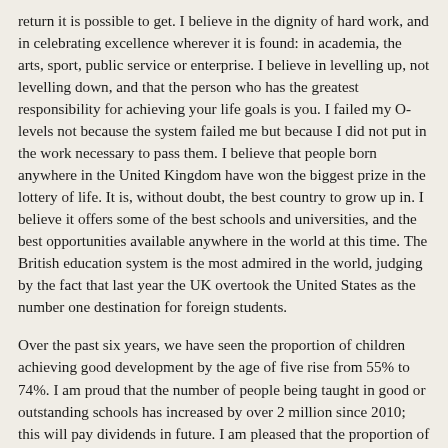return it is possible to get. I believe in the dignity of hard work, and in celebrating excellence wherever it is found: in academia, the arts, sport, public service or enterprise. I believe in levelling up, not levelling down, and that the person who has the greatest responsibility for achieving your life goals is you. I failed my O-levels not because the system failed me but because I did not put in the work necessary to pass them. I believe that people born anywhere in the United Kingdom have won the biggest prize in the lottery of life. It is, without doubt, the best country to grow up in. I believe it offers some of the best schools and universities, and the best opportunities available anywhere in the world at this time. The British education system is the most admired in the world, judging by the fact that last year the UK overtook the United States as the number one destination for foreign students.
Over the past six years, we have seen the proportion of children achieving good development by the age of five rise from 55% to 74%. I am proud that the number of people being taught in good or outstanding schools has increased by over 2 million since 2010; this will pay dividends in future. I am pleased that the proportion of children who were on free school meals entering higher education in England has increased every single year since 2005. I am pleased that the scourge of mass unemployment, which I knew in my youth, has given way to the highest employment levels in our history and some of the lowest